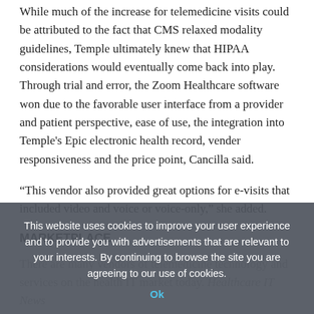While much of the increase for telemedicine visits could be attributed to the fact that CMS relaxed modality guidelines, Temple ultimately knew that HIPAA considerations would eventually come back into play. Through trial and error, the Zoom Healthcare software won due to the favorable user interface from a provider and patient perspective, ease of use, the integration into Temple's Epic electronic health record, vender responsiveness and the price point, Cancilla said.
“This vendor also provided great options for e-visits that included video and voice or voice-only,” she added.
MARKETPLACE
There are many vendors of telemedicine technology and services on the health IT market today. Healthcare IT News ha...
MEETING THE CHALLENGE
By centralizing access to specialty care, consults and outpatient...
This website uses cookies to improve your user experience and to provide you with advertisements that are relevant to your interests. By continuing to browse the site you are agreeing to our use of cookies.